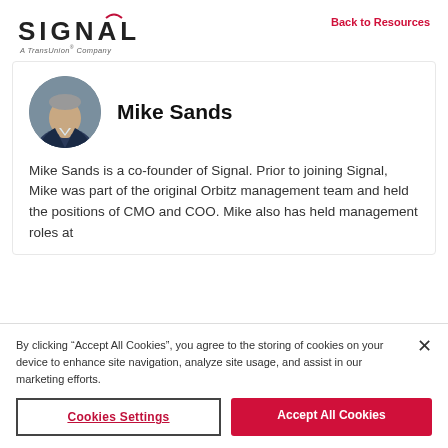SIGNAL A TransUnion® Company — Back to Resources
[Figure (photo): Circular headshot photo of Mike Sands, a man in a dark suit]
Mike Sands
Mike Sands is a co-founder of Signal. Prior to joining Signal, Mike was part of the original Orbitz management team and held the positions of CMO and COO. Mike also has held management roles at
By clicking "Accept All Cookies", you agree to the storing of cookies on your device to enhance site navigation, analyze site usage, and assist in our marketing efforts.
Cookies Settings
Accept All Cookies